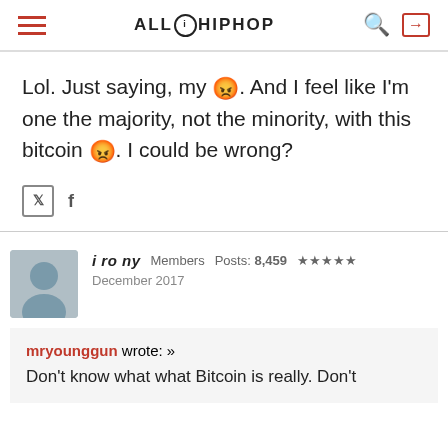ALLHIPHOP
Lol. Just saying, my [emoji]. And I feel like I'm one the majority, not the minority, with this bitcoin [emoji]. I could be wrong?
i ro ny   Members   Posts: 8,459   ★★★★★
December 2017
mryounggun wrote: »
Don't know what what Bitcoin is really. Don't